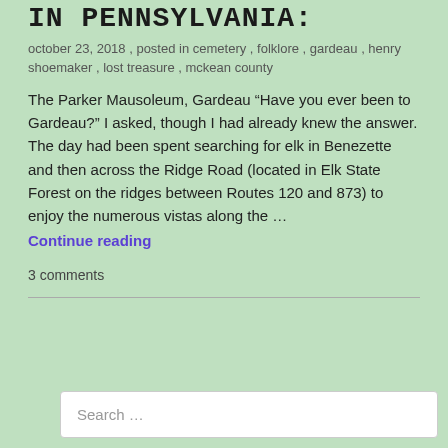IN PENNSYLVANIA:
october 23, 2018 , posted in cemetery , folklore , gardeau , henry shoemaker , lost treasure , mckean county
The Parker Mausoleum, Gardeau “Have you ever been to Gardeau?” I asked, though I had already knew the answer. The day had been spent searching for elk in Benezette and then across the Ridge Road (located in Elk State Forest on the ridges between Routes 120 and 873) to enjoy the numerous vistas along the …
Continue reading
3 comments
Search …